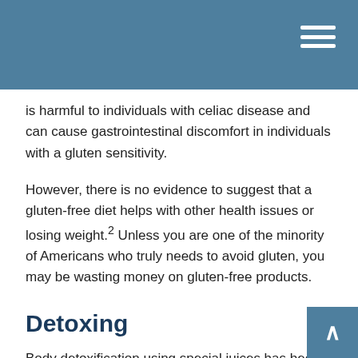is harmful to individuals with celiac disease and can cause gastrointestinal discomfort in individuals with a gluten sensitivity.
However, there is no evidence to suggest that a gluten-free diet helps with other health issues or losing weight.2 Unless you are one of the minority of Americans who truly needs to avoid gluten, you may be wasting money on gluten-free products.
Detoxing
Body detoxification using special juices has been touted as a way to lose weight, rid the body of “poisons,” and treat or prevent any number of diseases. These expensive juices, however, don’t live up to their billing. Indeed, detoxing may be dangerously unhealthy to some people.3